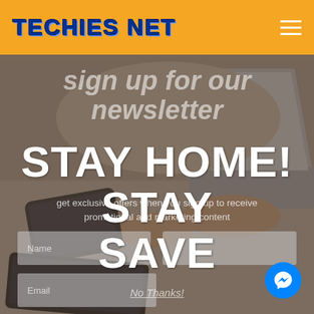TECHIES NET
sign up for our newsletter
get exclusive offers when you sign up to receive promotional and marketing content
[Figure (screenshot): Background photo of person using laptop with phone and tablet on desk, with newsletter signup form overlay including Name and Email fields and a subscribe button]
STAY HOME! STAY SAVE
No Thanks!